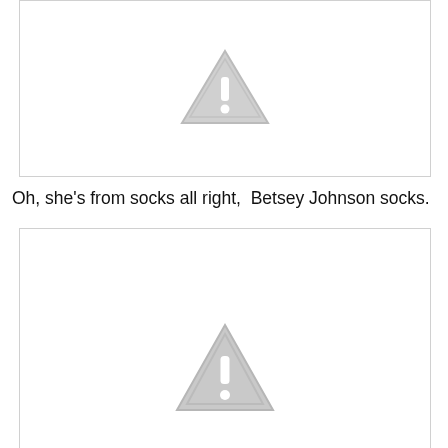[Figure (illustration): Placeholder image with a grey warning triangle icon containing an exclamation mark, shown at the top of the page. White background with light grey border.]
Oh, she's from socks all right,  Betsey Johnson socks.
[Figure (illustration): Placeholder image with a grey warning triangle icon containing an exclamation mark, shown at the bottom of the page. White background with light grey border.]